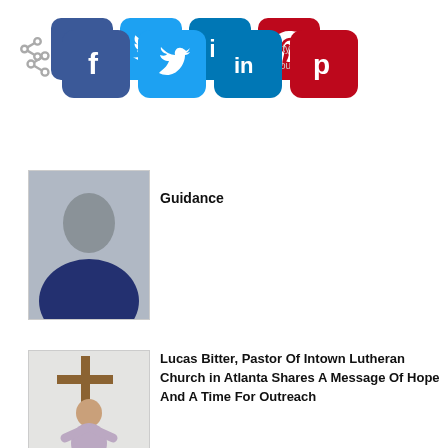[Figure (infographic): Social share bar with Facebook, Twitter, LinkedIn, Pinterest buttons and a share icon]
[Figure (photo): Partial photo of a man in a dark blue shirt with faded text overlay of article title about Community Church Outreach Resources And Guidance]
Guidance
[Figure (photo): Photo of Lucas Bitter, pastor, standing in front of a wooden cross with arms raised]
Lucas Bitter, Pastor Of Intown Lutheran Church in Atlanta Shares A Message Of Hope And A Time For Outreach
[Figure (photo): Professional headshot of Ericka Thompson, a woman with long dark hair in a dark blazer]
Ericka Thompson – Top Atlanta Insurance Agent On Getting The Right Coverage Not Just Minimum Coverage
[Figure (photo): Professional headshot of Michael Fischer, a man in a suit]
Michael Fischer – Top Real Estate Agent/Broker in Atlanta